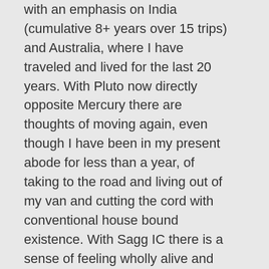with an emphasis on India (cumulative 8+ years over 15 trips) and Australia, where I have traveled and lived for the last 20 years. With Pluto now directly opposite Mercury there are thoughts of moving again, even though I have been in my present abode for less than a year, of taking to the road and living out of my van and cutting the cord with conventional house bound existence. With Sagg IC there is a sense of feeling wholly alive and alert only when on the move, when everything is new all the time. The ght 3 A mi i ht f ll d